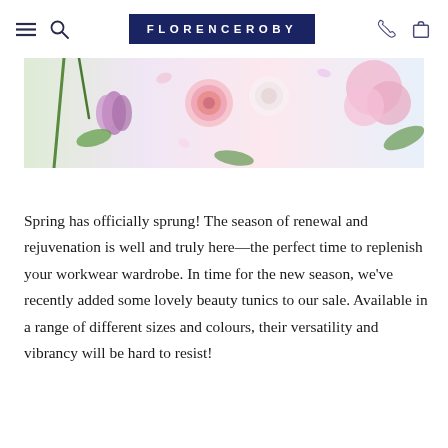FLORENCEROBY — Navigation bar with hamburger menu, search, phone and bag icons
[Figure (photo): A flat-lay floral banner image showing various spring flowers including pink ranunculus, purple hyacinth, lavender macarons, and green stems arranged on a white background.]
Spring has officially sprung! The season of renewal and rejuvenation is well and truly here—the perfect time to replenish your workwear wardrobe. In time for the new season, we've recently added some lovely beauty tunics to our sale. Available in a range of different sizes and colours, their versatility and vibrancy will be hard to resist!